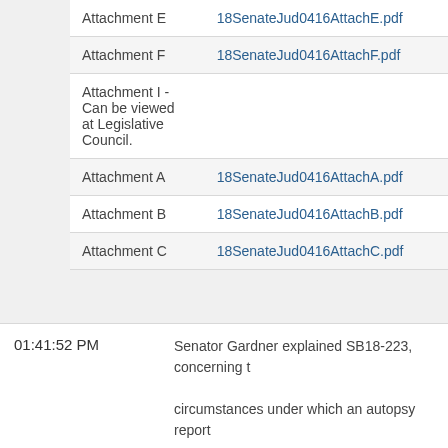| Attachment | File |
| --- | --- |
| Attachment E | 18SenateJud0416AttachE.pdf |
| Attachment F | 18SenateJud0416AttachF.pdf |
| Attachment I - Can be viewed at Legislative Council. |  |
| Attachment A | 18SenateJud0416AttachA.pdf |
| Attachment B | 18SenateJud0416AttachB.pdf |
| Attachment C | 18SenateJud0416AttachC.pdf |
01:41:52 PM   Senator Gardner explained SB18-223, concerning the circumstances under which an autopsy report...